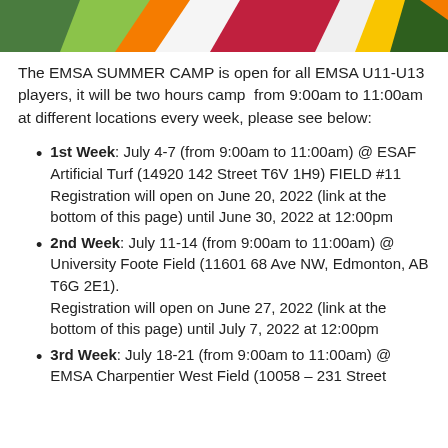[Figure (illustration): Colorful geometric banner with green, orange, red, yellow and dark green triangular shapes at the top of the page]
The EMSA SUMMER CAMP is open for all EMSA U11-U13 players, it will be two hours camp from 9:00am to 11:00am at different locations every week, please see below:
1st Week: July 4-7 (from 9:00am to 11:00am) @ ESAF Artificial Turf (14920 142 Street T6V 1H9) FIELD #11
Registration will open on June 20, 2022 (link at the bottom of this page) until June 30, 2022 at 12:00pm
2nd Week: July 11-14 (from 9:00am to 11:00am) @ University Foote Field (11601 68 Ave NW, Edmonton, AB T6G 2E1).
Registration will open on June 27, 2022 (link at the bottom of this page) until July 7, 2022 at 12:00pm
3rd Week: July 18-21 (from 9:00am to 11:00am) @ EMSA Charpentier West Field (10058 – 231 Street